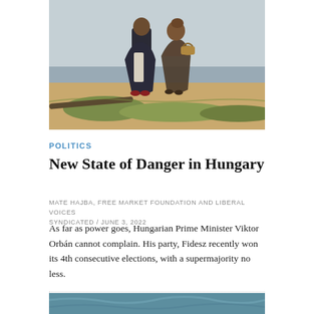[Figure (illustration): Painting of two girls in old-fashioned dark dresses standing on a hillside near water, one carrying a basket. Historical/classical art style with muted earth tones.]
POLITICS
New State of Danger in Hungary
MATE HAJBA, FREE MARKET FOUNDATION AND LIBERAL VOICES SYNDICATED / JUNE 3, 2022
As far as power goes, Hungarian Prime Minister Viktor Orbán cannot complain. His party, Fidesz recently won its 4th consecutive elections, with a supermajority no less.
[Figure (illustration): Partial view of another painting at the bottom of the page, showing a teal/blue colored scene — appears to be a Van Gogh-style landscape.]